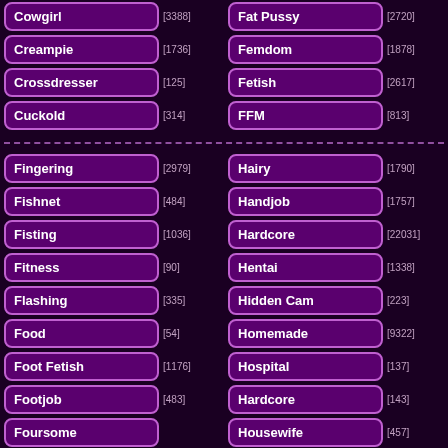Cowgirl [3388]
Fat Pussy [2720]
Creampie [1736]
Femdom [1878]
Crossdresser [125]
Fetish [2617]
Cuckold [314]
FFM [813]
Fingering [2979]
Hairy [1790]
Fishnet [484]
Handjob [1757]
Fisting [1036]
Hardcore [22031]
Fitness [90]
Hentai [1338]
Flashing [335]
Hidden Cam [223]
Food [54]
Homemade [9322]
Foot Fetish [1176]
Hospital [137]
Footjob [483]
Hardcore [143]
Foursome [?]
Housewife [457]